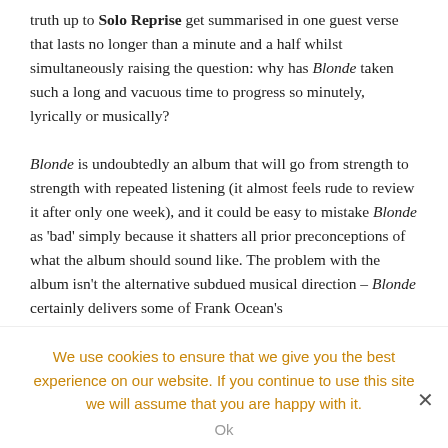truth up to Solo Reprise get summarised in one guest verse that lasts no longer than a minute and a half whilst simultaneously raising the question: why has Blonde taken such a long and vacuous time to progress so minutely, lyrically or musically?

Blonde is undoubtedly an album that will go from strength to strength with repeated listening (it almost feels rude to review it after only one week), and it could be easy to mistake Blonde as 'bad' simply because it shatters all prior preconceptions of what the album should sound like. The problem with the album isn't the alternative subdued musical direction – Blonde certainly delivers some of Frank Ocean's
We use cookies to ensure that we give you the best experience on our website. If you continue to use this site we will assume that you are happy with it.
Ok